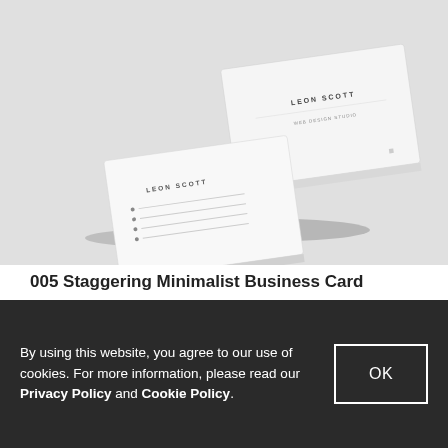[Figure (photo): Business card mockup showing two white minimalist business cards for 'Leon Scott' stacked/arranged on a light grey background. One card is standing upright showing the front, another is lying face-down.]
005 Staggering Minimalist Business Card
By using this website, you agree to our use of cookies. For more information, please read our Privacy Policy and Cookie Policy.